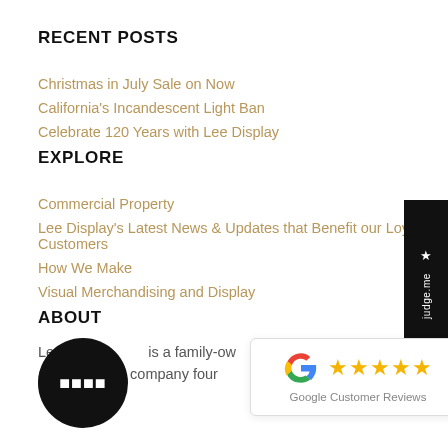RECENT POSTS
Christmas in July Sale on Now
California's Incandescent Light Ban
Celebrate 120 Years with Lee Display
EXPLORE
Commercial Property
Lee Display's Latest News & Updates that Benefit our Loyal Customers
How We Make
Visual Merchandising and Display
ABOUT
Lee Display is a family-owned and company found…
[Figure (other): Judge.me sidebar widget with star icon and 'judge.me' text rotated vertically on a black background]
[Figure (other): Google Customer Reviews popup showing Google G logo, five gold stars, and text 'Google Customer Reviews']